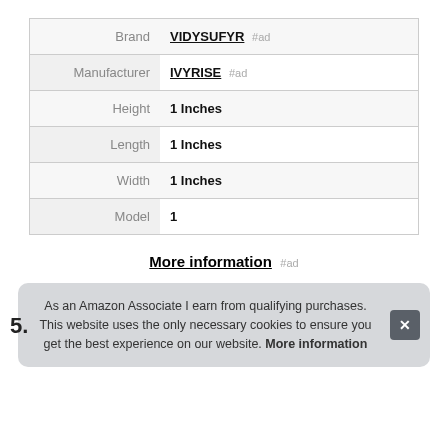| Label | Value |
| --- | --- |
| Brand | VIDYSUFYR #ad |
| Manufacturer | IVYRISE #ad |
| Height | 1 Inches |
| Length | 1 Inches |
| Width | 1 Inches |
| Model | 1 |
More information #ad
As an Amazon Associate I earn from qualifying purchases. This website uses the only necessary cookies to ensure you get the best experience on our website. More information
5.